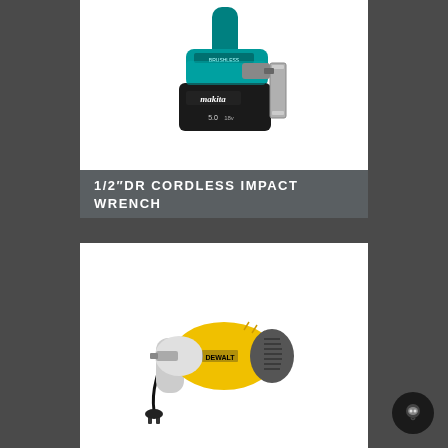[Figure (photo): Makita cordless brushless impact wrench in teal/black color with 18V 5.0Ah battery, showing belt hook attachment, photographed from above on white background]
1/2″DR CORDLESS IMPACT WRENCH
[Figure (photo): DeWalt corded electric impact wrench in yellow/grey color with power cord and plug, photographed on white background]